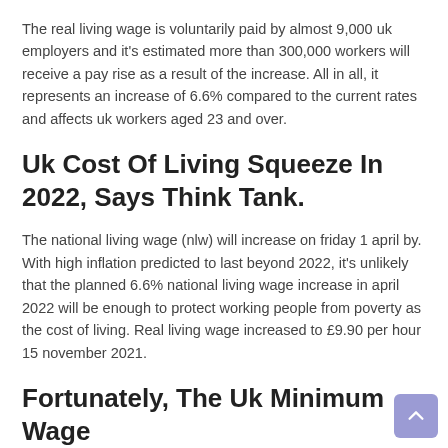The real living wage is voluntarily paid by almost 9,000 uk employers and it's estimated more than 300,000 workers will receive a pay rise as a result of the increase. All in all, it represents an increase of 6.6% compared to the current rates and affects uk workers aged 23 and over.
Uk Cost Of Living Squeeze In 2022, Says Think Tank.
The national living wage (nlw) will increase on friday 1 april by. With high inflation predicted to last beyond 2022, it's unlikely that the planned 6.6% national living wage increase in april 2022 will be enough to protect working people from poverty as the cost of living. Real living wage increased to £9.90 per hour 15 november 2021.
Fortunately, The Uk Minimum Wage